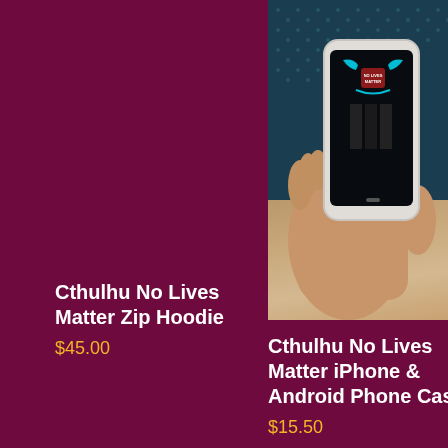Cthulhu No Lives Matter Zip Hoodie
$45.00
[Figure (photo): A hand holding a smartphone displaying the Cthulhu No Lives Matter design on its screen, with a dark teal background with dot pattern]
Cthulhu No Lives Matter iPhone & Android Phone Case
$15.50